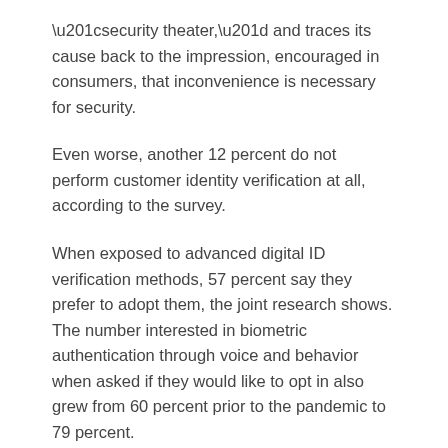“security theater,” and traces its cause back to the impression, encouraged in consumers, that inconvenience is necessary for security.
Even worse, another 12 percent do not perform customer identity verification at all, according to the survey.
When exposed to advanced digital ID verification methods, 57 percent say they prefer to adopt them, the joint research shows. The number interested in biometric authentication through voice and behavior when asked if they would like to opt in also grew from 60 percent prior to the pandemic to 79 percent.
Article Topics